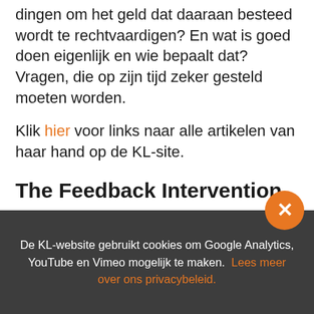dingen om het geld dat daaraan besteed wordt te rechtvaardigen? En wat is goed doen eigenlijk en wie bepaalt dat? Vragen, die op zijn tijd zeker gesteld moeten worden.
Klik hier voor links naar alle artikelen van haar hand op de KL-site.
The Feedback Intervention
60 people attended. 45 filled out the survey. 75% said it was ‘useful’ or ‘very useful.’ 80% reported having ‘a lot’ of fun.
De KL-website gebruikt cookies om Google Analytics, YouTube en Vimeo mogelijk te maken. Lees meer over ons privacybeleid.